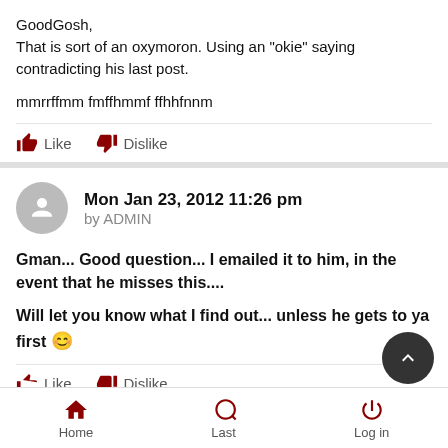GoodGosh,
That is sort of an oxymoron. Using an "okie" saying contradicting his last post.

mmrrffmm fmffhmmf ffhhfnnm
Like   Dislike
Mon Jan 23, 2012 11:26 pm
by ADMIN
Gman... Good question... I emailed it to him, in the event that he misses this....
Will let you know what I find out... unless he gets to ya first 😊
Like   Dislike
Home   Last   Log in